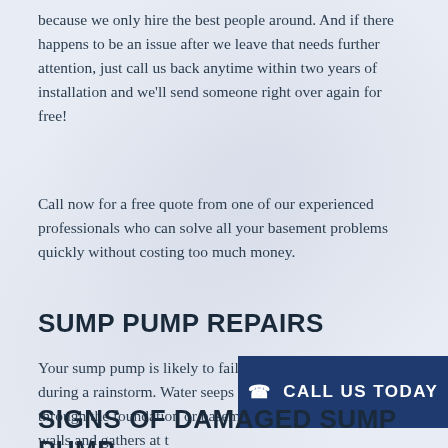because we only hire the best people around. And if there happens to be an issue after we leave that needs further attention, just call us back anytime within two years of installation and we'll send someone right over again for free!
Call now for a free quote from one of our experienced professionals who can solve all your basement problems quickly without costing too much money.
SUMP PUMP REPAIRS
Your sump pump is likely to fail during a rainstorm. Water seeps in through the foundation or basement walls and gathers at t... It's a complete disast...
[Figure (other): Blue call-to-action button overlay reading CALL US TODAY with phone icon]
SIGNS OF DAMAGED SUMP PUMP